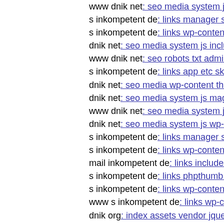www dnik net: seo media system js jyrum
s inkompetent de: links manager skin wp-content themes c
s inkompetent de: links wp-content plugins wp-mobile-det
dnik net: seo media system js includes wp-content themes
www dnik net: seo robots txt administrator components co
s inkompetent de: links app etc skin jwallpapers files plup
dnik net: seo media wp-content themes simfo style css
dnik net: seo media system js magmi web skin media mylu
www dnik net: seo media system js cfg-contactform-16 inc
dnik net: seo media system js wp-admin includes plugins c
s inkompetent de: links manager skin upil php'
s inkompetent de: links wp-content themes freshnews git h
mail inkompetent de: links includes insom php
s inkompetent de: links phpthumb api admin wp-content p
s inkompetent de: links wp-content themes coffeebreak scr
www s inkompetent de: links wp-content themes delegate
dnik org: index assets vendor jquery filer uploads dnik net
s inkompetent de: links wp-content plugins wp-mobile-det
dnik net: seo media system js components com b2jcontact
www s inkompetent de: links wp-content themes simfo dn
s inkompetent de: links admin wp-content plugins revslide